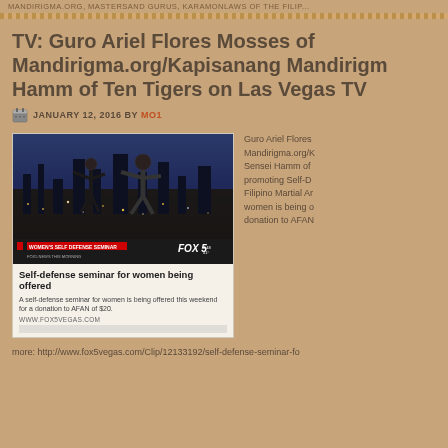MANDIRIGMA.ORG, MASTERSAND GURUS, KARAMONLAWS OF THE FILIP...
TV: Guro Ariel Flores Mosses of Mandirigma.org/Kapisanang Mandirigma & Sensei Hamm of Ten Tigers on Las Vegas TV
JANUARY 12, 2016 BY MO1
[Figure (screenshot): Screenshot of Fox 5 Las Vegas TV segment showing two men practicing martial arts / self-defense techniques. Lower third banner reads WOMEN'S SELF DEFENSE SEMINAR. Below image: headline 'Self-defense seminar for women being offered', subtext 'A self-defense seminar for women is being offered this weekend for a donation to AFAN of $20.', URL: WWW.FOX5VEGAS.COM]
Guro Ariel Flores Mandirigma.org/K Sensei Hamm of promoting Self-D Filipino Martial Ar women is being d donation to AFAN
more: http://www.fox5vegas.com/Clip/12133192/self-defense-seminar-fo